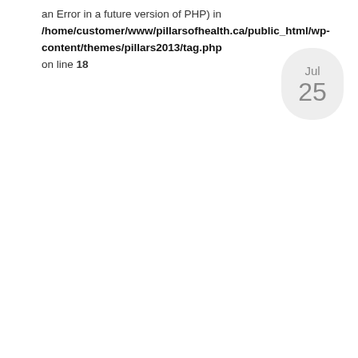an Error in a future version of PHP) in /home/customer/www/pillarsofhealth.ca/public_html/wp-content/themes/pillars2013/tag.php on line 18
[Figure (other): Date badge showing Jul 25 in a rounded pill/oval shape with light grey background]